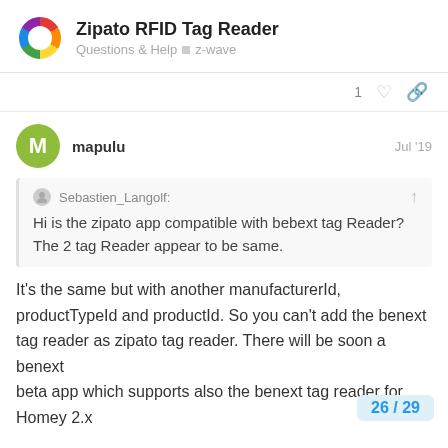Zipato RFID Tag Reader — Questions & Help > z-wave
1
mapulu — Jul '19
Sebastien_Langolf: Hi is the zipato app compatible with bebext tag Reader? The 2 tag Reader appear to be same.
It's the same but with another manufacturerId, productTypeId and productId. So you can't add the benext tag reader as zipato tag reader. There will be soon a benext beta app which supports also the benext tag reader for Homey 2.x
26 / 29